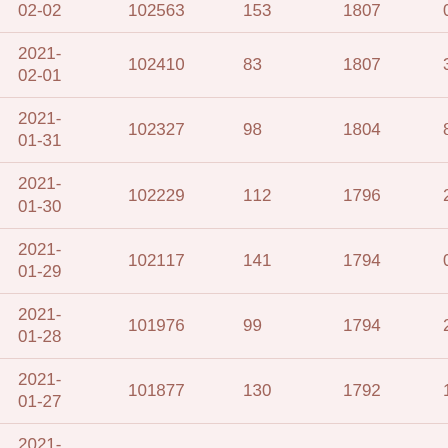| 02-02 | 102563 | 153 | 1807 | 0 |
| 2021-02-01 | 102410 | 83 | 1807 | 3 |
| 2021-01-31 | 102327 | 98 | 1804 | 8 |
| 2021-01-30 | 102229 | 112 | 1796 | 2 |
| 2021-01-29 | 102117 | 141 | 1794 | 0 |
| 2021-01-28 | 101976 | 99 | 1794 | 2 |
| 2021-01-27 | 101877 | 130 | 1792 | 1 |
| 2021-01-26 | 101747 | 141 | 1791 | 6 |